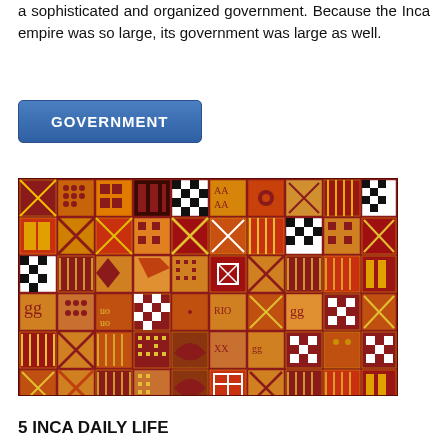a sophisticated and organized government. Because the Inca empire was so large, its government was large as well.
GOVERNMENT
[Figure (photo): Inca textile with colorful geometric patterns in red, orange, gold, black, and white arranged in a grid of squares with various symbols.]
5 INCA DAILY LIFE